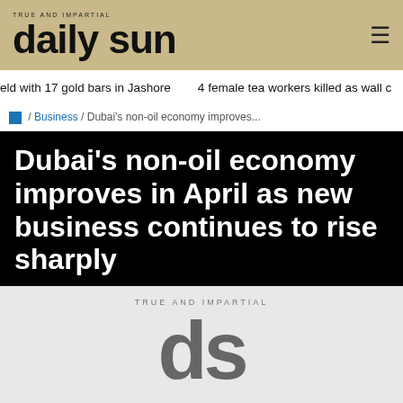daily sun — TRUE AND IMPARTIAL
eld with 17 gold bars in Jashore   4 female tea workers killed as wall c
/ Business / Dubai's non-oil economy improves...
Dubai's non-oil economy improves in April as new business continues to rise sharply
[Figure (logo): Daily Sun newspaper logo — 'ds' in large grey letters with 'TRUE AND IMPARTIAL' tagline above]